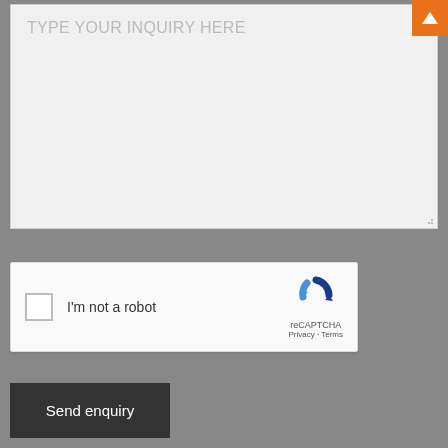[Figure (screenshot): A web form textarea with placeholder text 'TYPE YOUR INQUIRY HERE' on a grey background]
[Figure (screenshot): reCAPTCHA widget with checkbox labeled 'I'm not a robot', showing the reCAPTCHA logo, Privacy and Terms links]
[Figure (screenshot): Dark grey 'Send enquiry' button]
[Figure (screenshot): Orange scroll-to-top button with upward chevron arrow in the top-right corner]